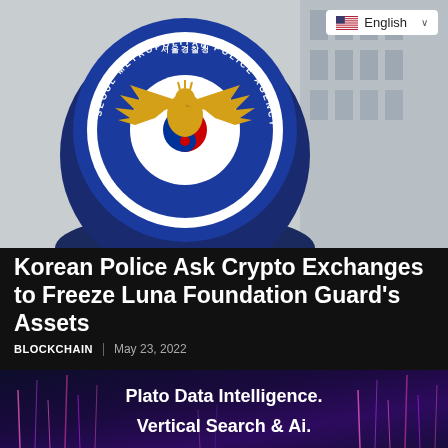[Figure (photo): Seoul Metropolitan Police Agency badge/logo on a blue sphere, photographed against a building background. A language selector badge showing 'English' with US flag is visible in the top-right corner.]
Korean Police Ask Crypto Exchanges to Freeze Luna Foundation Guard's Assets
BLOCKCHAIN | May 23, 2022
[Figure (photo): Promotional banner with glowing vertical light streaks on a dark purple background with white bold text reading 'Plato Data Intelligence. Vertical Search & Ai.']